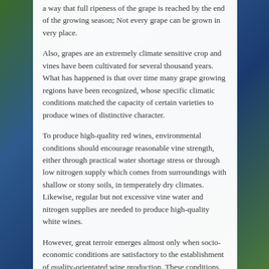a way that full ripeness of the grape is reached by the end of the growing season; Not every grape can be grown in very place.
Also, grapes are an extremely climate sensitive crop and vines have been cultivated for several thousand years. What has happened is that over time many grape growing regions have been recognized, whose specific climatic conditions matched the capacity of certain varieties to produce wines of distinctive character.
To produce high-quality red wines, environmental conditions should encourage reasonable vine strength, either through practical water shortage stress or through low nitrogen supply which comes from surroundings with shallow or stony soils, in temperately dry climates. Likewise, regular but not excessive vine water and nitrogen supplies are needed to produce high-quality white wines.
However, great terroir emerges almost only when socio-economic conditions are satisfactory to the establishment of quality-orientated wine production. These conditions are is often measured as a combination of education, income and occupation.